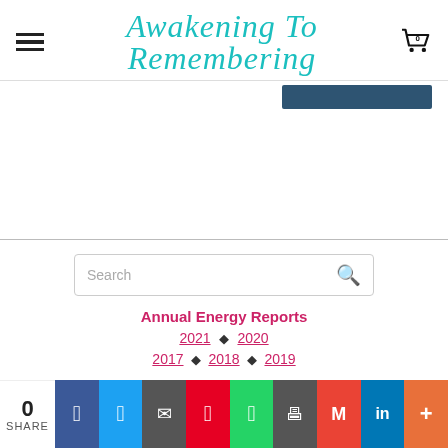Awakening To Remembering
[Figure (screenshot): Dark teal/navy rectangle bar visible at top right of content area]
Search
Annual Energy Reports
2021 ♦ 2020
2017 ♦ 2018 ♦ 2019
0 SHARE | Facebook | Twitter | Email | Pinterest | WhatsApp | Print | Gmail | LinkedIn | More